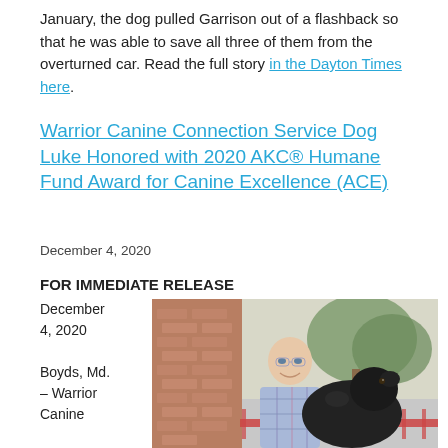January, the dog pulled Garrison out of a flashback so that he was able to save all three of them from the overturned car. Read the full story in the Dayton Times here.
Warrior Canine Connection Service Dog Luke Honored with 2020 AKC® Humane Fund Award for Canine Excellence (ACE)
December 4, 2020
FOR IMMEDIATE RELEASE
December 4, 2020

Boyds, Md. – Warrior Canine
[Figure (photo): A smiling man in a plaid shirt sitting next to a black Labrador dog outdoors near a brick building with a tree in the background.]